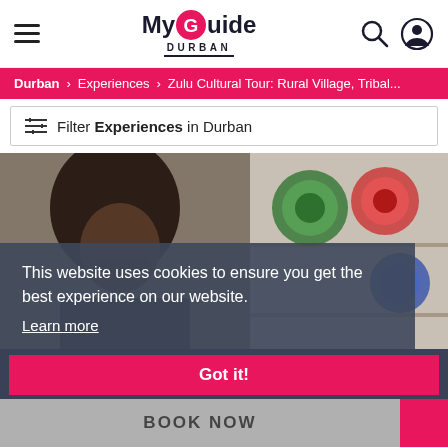My Guide Durban
Durban > Experiences > Zulu Cultural Tour: Rural Village, Tribal...
Filter Experiences in Durban
[Figure (photo): Person with curly hair in front of shelves with decorative plates]
This website uses cookies to ensure you get the best experience on our website. Learn more
Reserve Your Experience
Zulu Cultural Tour: Rural Village, Tribal Markets & Food
Got it!
BOOK NOW